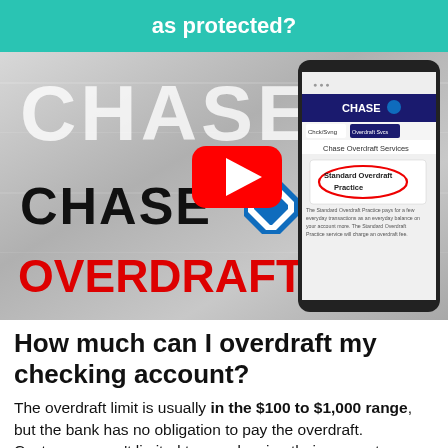as protected?
[Figure (screenshot): Video thumbnail showing Chase overdraft fees. Left side has large white 'CHASE' text on metallic background, Chase logo with 'OVERDRAFT FEES' in red text below. YouTube play button in center. Right side shows a smartphone displaying Chase Overdraft Services webpage with 'Standard Overdraft Practice' circled in red oval.]
How much can I overdraft my checking account?
The overdraft limit is usually in the $100 to $1,000 range, but the bank has no obligation to pay the overdraft. Customers aren't limited to overdrawing their account